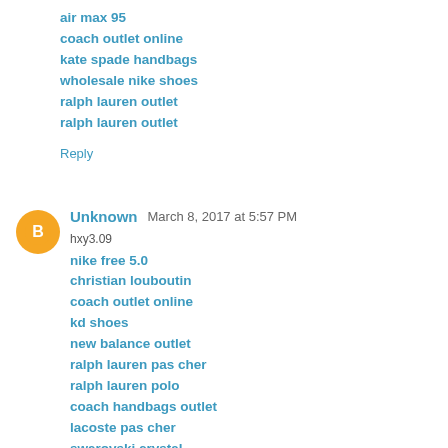air max 95
coach outlet online
kate spade handbags
wholesale nike shoes
ralph lauren outlet
ralph lauren outlet
Reply
Unknown  March 8, 2017 at 5:57 PM
hxy3.09
nike free 5.0
christian louboutin
coach outlet online
kd shoes
new balance outlet
ralph lauren pas cher
ralph lauren polo
coach handbags outlet
lacoste pas cher
swarovski crystal